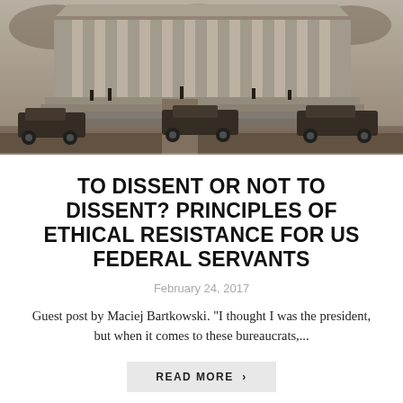[Figure (photo): Black and white historical photograph of a government building with large steps and columns. Several early 20th century automobiles are parked in front. People can be seen on the steps and grounds.]
TO DISSENT OR NOT TO DISSENT? PRINCIPLES OF ETHICAL RESISTANCE FOR US FEDERAL SERVANTS
February 24, 2017
Guest post by Maciej Bartkowski. “I thought I was the president, but when it comes to these bureaucrats,...
READ MORE >
26  1